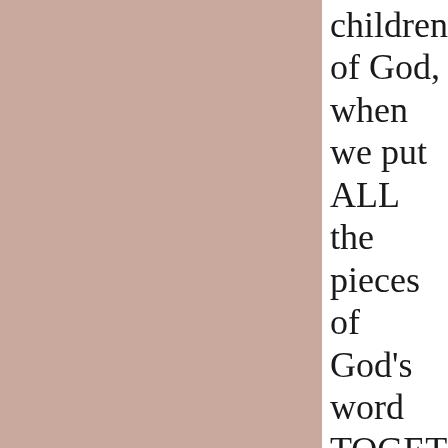children of God, when we put ALL the pieces of God's word TOGETHER like a jigsaw puzzle being CORRECTLY put together